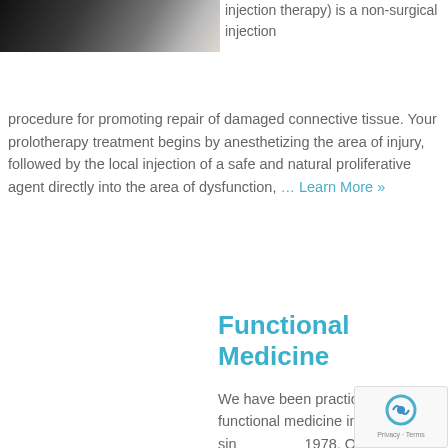[Figure (photo): Photo of a medical professional or patient, partially visible at top left]
injection therapy) is a non-surgical injection procedure for promoting repair of damaged connective tissue. Your prolotherapy treatment begins by anesthetizing the area of injury, followed by the local injection of a safe and natural proliferative agent directly into the area of dysfunction, ... Learn More »
Functional Medicine
We have been practicing functional medicine in Oswego sin... 1978. Our mission